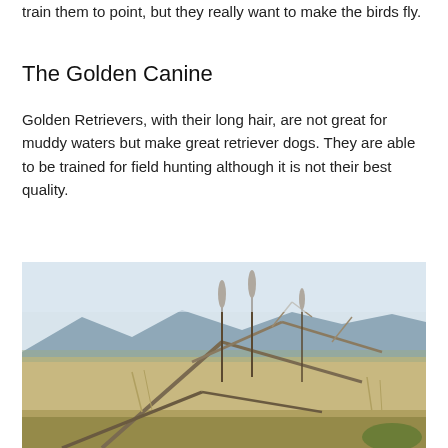train them to point, but they really want to make the birds fly.
The Golden Canine
Golden Retrievers, with their long hair, are not great for muddy waters but make great retriever dogs. They are able to be trained for field hunting although it is not their best quality.
[Figure (photo): Outdoor landscape photo showing dry, arid terrain with bare branchy sticks and dried grasses in the foreground, a flat sandy plain in the middle ground, and mountains with some trees in the background under a pale sky.]